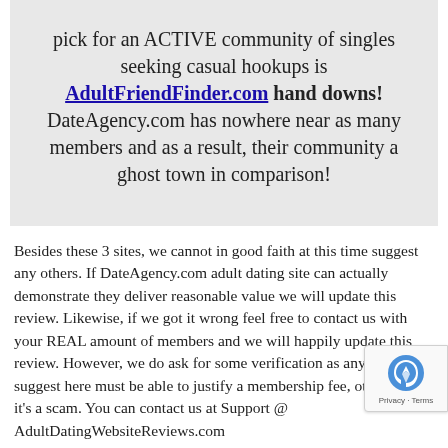pick for an ACTIVE community of singles seeking casual hookups is AdultFriendFinder.com hand downs! DateAgency.com has nowhere near as many members and as a result, their community a ghost town in comparison!
Besides these 3 sites, we cannot in good faith at this time suggest any others. If DateAgency.com adult dating site can actually demonstrate they deliver reasonable value we will update this review. Likewise, if we got it wrong feel free to contact us with your REAL amount of members and we will happily update this review. However, we do ask for some verification as any site we suggest here must be able to justify a membership fee, otherwise it's a scam. You can contact us at Support @ AdultDatingWebsiteReviews.com
Have fun and be safe!